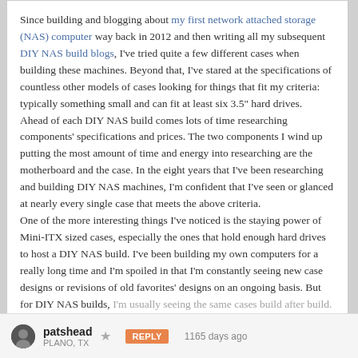Since building and blogging about my first network attached storage (NAS) computer way back in 2012 and then writing all my subsequent DIY NAS build blogs, I've tried quite a few different cases when building these machines. Beyond that, I've stared at the specifications of countless other models of cases looking for things that fit my criteria: typically something small and can fit at least six 3.5" hard drives.
Ahead of each DIY NAS build comes lots of time researching components' specifications and prices. The two components I wind up putting the most amount of time and energy into researching are the motherboard and the case. In the eight years that I've been researching and building DIY NAS machines, I'm confident that I've seen or glanced at nearly every single case that meets the above criteria.
One of the more interesting things I've noticed is the staying power of Mini-ITX sized cases, especially the ones that hold enough hard drives to host a DIY NAS build. I've been building my own computers for a really long time and I'm spoiled in that I'm constantly seeing new case designs or revisions of old favorites' designs on an ongoing basis. But for DIY NAS builds, I'm usually seeing the same cases build after build.
Read the whole story · · · · · · · · ·
patshead
PLANO, TX
1165 days ago